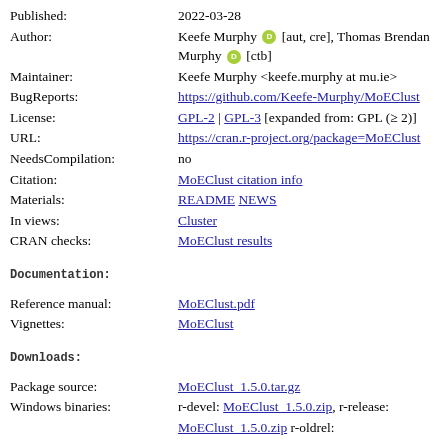Published: 2022-03-28
Author: Keefe Murphy [aut, cre], Thomas Brendan Murphy [ctb]
Maintainer: Keefe Murphy <keefe.murphy at mu.ie>
BugReports: https://github.com/Keefe-Murphy/MoEClust
License: GPL-2 | GPL-3 [expanded from: GPL (>= 2)]
URL: https://cran.r-project.org/package=MoEClust
NeedsCompilation: no
Citation: MoEClust citation info
Materials: README NEWS
In views: Cluster
CRAN checks: MoEClust results
Documentation:
Reference manual: MoEClust.pdf
Vignettes: MoEClust
Downloads:
Package source: MoEClust_1.5.0.tar.gz
Windows binaries: r-devel: MoEClust_1.5.0.zip, r-release: